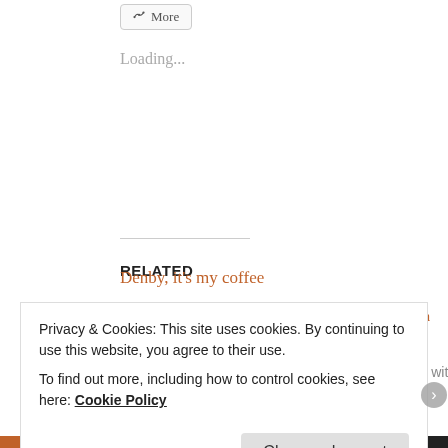[Figure (other): A 'More' button with share icon at top of page]
Loading...
RELATED
green hair
September 5, 2011
In "Going Green"
tea love...and a giveaway
May 19, 2013
In "Connecting with Community"
Denby, it's my coffee
Privacy & Cookies: This site uses cookies. By continuing to use this website, you agree to their use.
To find out more, including how to control cookies, see here: Cookie Policy
Close and accept